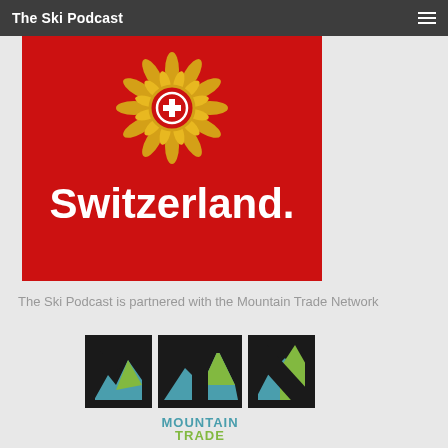The Ski Podcast
[Figure (logo): Switzerland Tourism logo on red background with golden edelweiss/sunburst and Swiss cross badge above large white bold text reading 'Switzerland.']
The Ski Podcast is partnered with the Mountain Trade Network
[Figure (logo): Mountain Trade Network (MTN) logo: large black MTN letters with teal and green mountain silhouettes inside, below which reads 'MOUNTAIN TRADE NETWORK' in teal and green text]